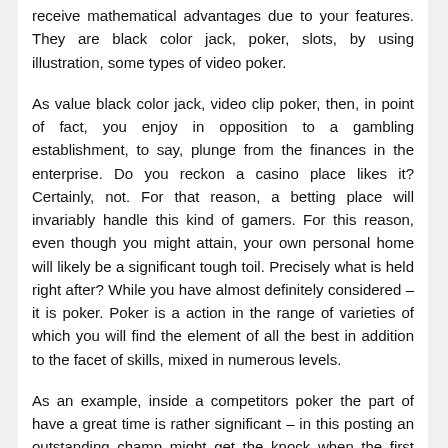receive mathematical advantages due to your features. They are black color jack, poker, slots, by using illustration, some types of video poker.
As value black color jack, video clip poker, then, in point of fact, you enjoy in opposition to a gambling establishment, to say, plunge from the finances in the enterprise. Do you reckon a casino place likes it? Certainly, not. For that reason, a betting place will invariably handle this kind of gamers. For this reason, even though you might attain, your own personal home will likely be a significant tough toil. Precisely what is held right after? While you have almost definitely considered – it is poker. Poker is a action in the range of varieties of which you will find the element of all the best in addition to the facet of skills, mixed in numerous levels.
As an example, inside a competitors poker the part of have a great time is rather significant – in this posting an outstanding champ might get the knock when the first spherical. Right here an individual which includes a gambling familiarity with merely one calendar year more